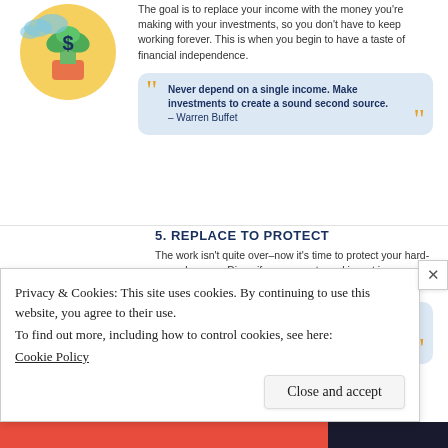[Figure (infographic): Infographic page showing financial independence steps. Section 4 (partial, top): icon of money/investment plant. Quote: 'Never depend on a single income. Make investments to create a sound second source. – Warren Buffet'. Section 5: REPLACE TO PROTECT with document/glasses icon. Quote: 'Don't [just] focus on making money. Focus on protecting what you have. – Paul Tudor Jones'. Section 6 (partial): PROTECT TO CONTRIBUTE with emoji face icon.]
The goal is to replace your income with the money you're making with your investments, so you don't have to keep working forever. This is when you begin to have a taste of financial independence.
Never depend on a single income. Make investments to create a sound second source. – Warren Buffet
5. REPLACE TO PROTECT
The work isn't quite over–now it's time to protect your hard-earned money. Diversify your assets and invest in insurance.
Don't [just] focus on making money. Focus on protecting what you have. – Paul Tudor Jones
6. PROTECT TO CONTRIBUTE
Now that you're financially sound, you can focus on
Privacy & Cookies: This site uses cookies. By continuing to use this website, you agree to their use.
To find out more, including how to control cookies, see here:
Cookie Policy
Close and accept